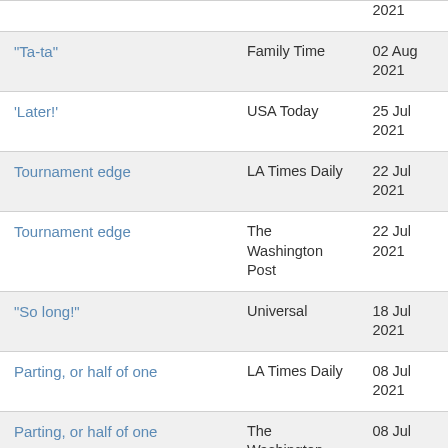| Title | Publication | Date |
| --- | --- | --- |
| (partial top row) |  | 2021 |
| "Ta-ta" | Family Time | 02 Aug
2021 |
| 'Later!' | USA Today | 25 Jul
2021 |
| Tournament edge | LA Times Daily | 22 Jul
2021 |
| Tournament edge | The Washington Post | 22 Jul
2021 |
| "So long!" | Universal | 18 Jul
2021 |
| Parting, or half of one | LA Times Daily | 08 Jul
2021 |
| Parting, or half of one (partial) | The Washington | 08 Jul |